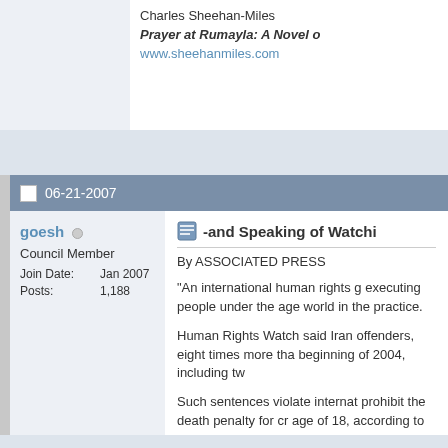Charles Sheehan-Miles
Prayer at Rumayla: A Novel o
www.sheehanmiles.com
06-21-2007
goesh
Council Member
Join Date: Jan 2007
Posts: 1,188
-and Speaking of Watchi
By ASSOCIATED PRESS
"An international human rights g executing people under the age world in the practice.
Human Rights Watch said Iran offenders, eight times more tha beginning of 2004, including tw
Such sentences violate internat prohibit the death penalty for cr age of 18, according to the hum
It said Iran's judiciary had repe juveniles charged with committi as 15. "